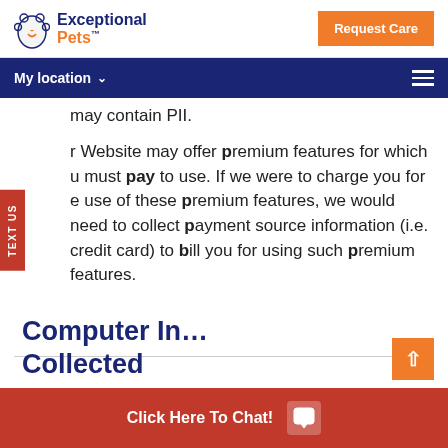Exceptional Pets | Request Care | My location
may contain PII.
r Website may offer premium features for which u must pay to use. If we were to charge you for e use of these premium features, we would need to collect payment source information (i.e. credit card) to bill you for using such premium features.
Computer In Collected